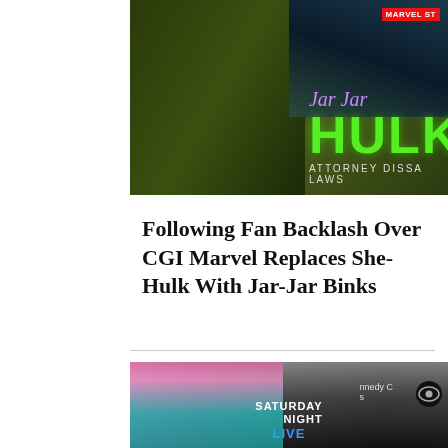[Figure (photo): A composite image showing She-Hulk (green character) on left and a Marvel Studios promotional image on right with text 'Jar Jar HULK ATTORNEY DISSA LAWS' overlaid in green and purple]
Following Fan Backlash Over CGI Marvel Replaces She-Hulk With Jar-Jar Binks
[Figure (photo): Two celebrities side by side: a blonde woman in teal blazer on left, and a man with bleached hair wearing sunglasses and a tuxedo on right. Saturday Night Live logo overlay in center.]